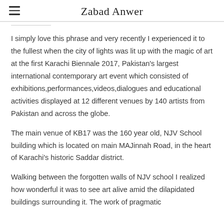Zabad Anwer
I simply love this phrase and very recently I experienced it to the fullest when the city of lights was lit up with the magic of art at the first Karachi Biennale 2017, Pakistan's largest international contemporary art event which consisted of exhibitions,performances,videos,dialogues and educational activities displayed at 12 different venues by 140 artists from Pakistan and across the globe.
The main venue of KB17 was the 160 year old, NJV School building which is located on main MAJinnah Road, in the heart of Karachi's historic Saddar district.
Walking between the forgotten walls of NJV school I realized how wonderful it was to see art alive amid the dilapidated buildings surrounding it. The work of pragmatic